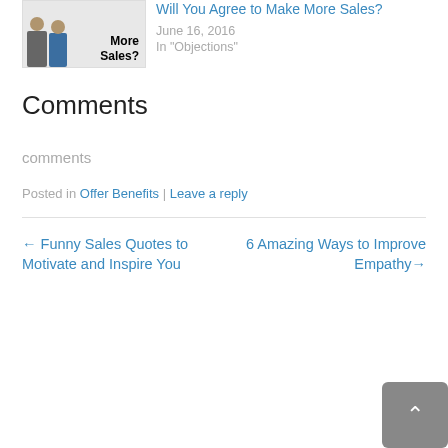[Figure (illustration): Thumbnail image showing two cartoon figures and bold text reading 'More Sales?']
Will You Agree to Make More Sales?
June 16, 2016
In "Objections"
Comments
comments
Posted in Offer Benefits | Leave a reply
← Funny Sales Quotes to Motivate and Inspire You
6 Amazing Ways to Improve Empathy→